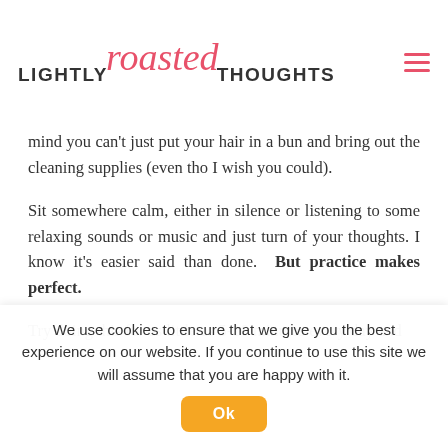LIGHTLY roasted THOUGHTS
mind you can't just put your hair in a bun and bring out the cleaning supplies (even tho I wish you could).
Sit somewhere calm, either in silence or listening to some relaxing sounds or music and just turn of your thoughts. I know it's easier said than done. But practice makes perfect.
Try doing this for as little as 5-10 minutes every day and
We use cookies to ensure that we give you the best experience on our website. If you continue to use this site we will assume that you are happy with it. Ok